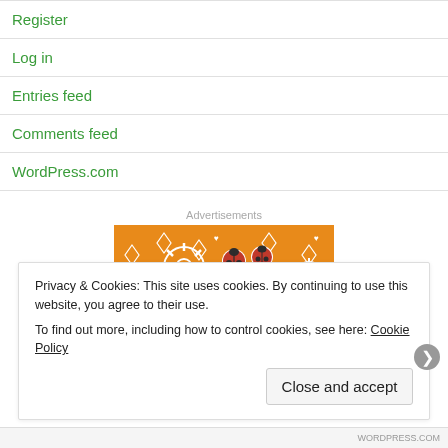Register
Log in
Entries feed
Comments feed
WordPress.com
Advertisements
[Figure (illustration): Orange patterned advertisement banner with white daisy flowers, diamond shapes, hearts, and ladybug illustrations on an orange background.]
Privacy & Cookies: This site uses cookies. By continuing to use this website, you agree to their use.
To find out more, including how to control cookies, see here: Cookie Policy
Close and accept